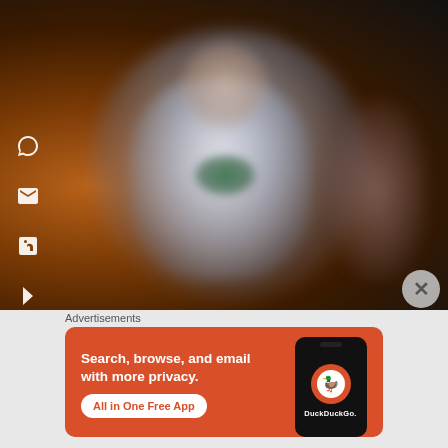[Figure (photo): Blurred photo of a person on stage with orange/dark background, social media share icons on the left side (speech bubble, email, LinkedIn, bookmark, flip-horizontal icons)]
[Figure (illustration): Close button (X in a grey circle) at bottom right of photo area]
Advertisements
[Figure (screenshot): DuckDuckGo advertisement banner on orange/red background. Text: 'Search, browse, and email with more privacy. All in One Free App'. Shows a smartphone mockup with DuckDuckGo logo and brand name.]